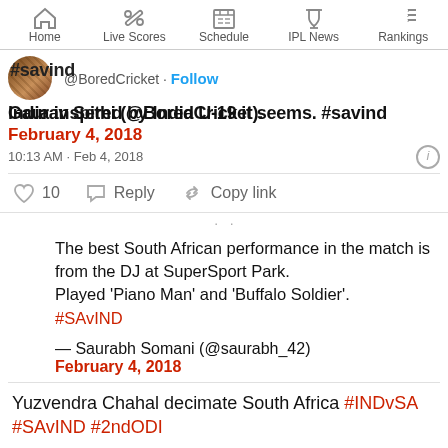Home | Live Scores | Schedule | IPL News | Rankings
@BoredCricket · Follow
India inspired by India U-19 it seems. #savind
Gaurav Sethi (@BoredCricket). February 4, 2018
10:13 AM · Feb 4, 2018
10  Reply  Copy link
The best South African performance in the match is from the DJ at SuperSport Park.
Played 'Piano Man' and 'Buffalo Soldier'.
#SAvIND

— Saurabh Somani (@saurabh_42)
February 4, 2018
Yuzvendra Chahal decimate South Africa #INDvSA #SAvIND #2ndODI